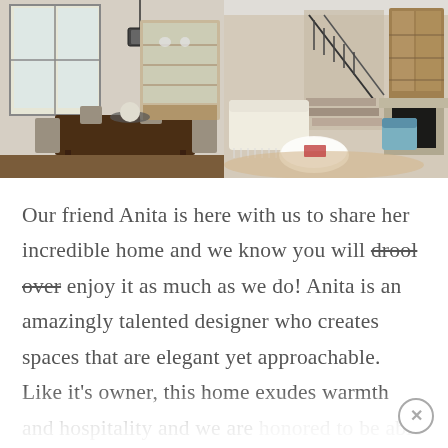[Figure (photo): Two interior home photos side by side: left shows a dining room with a dark wood table, chandelier, and china cabinet; right shows a living room with sofas, staircase, fireplace, and wooden cabinet.]
Our friend Anita is here with us to share her incredible home and we know you will drool over enjoy it as much as we do! Anita is an amazingly talented designer who creates spaces that are elegant yet approachable. Like it's owner, this home exudes warmth and hospitality and we are honored to be able to share it with you here today.